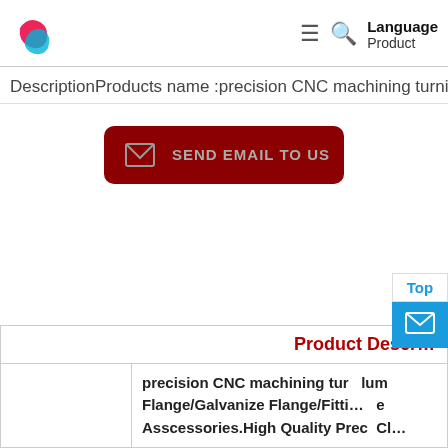Language Product
DescriptionProducts name :precision CNC machining turnin
[Figure (other): Send Email To Us button with envelope icon, dark red/maroon rounded rectangle button]
| Product Descr… |
| --- |
|  | precision CNC machining tur… lum… Flange/Galvanize Flange/Fitti… e Asscessories.High Quality Prec… Cl… |